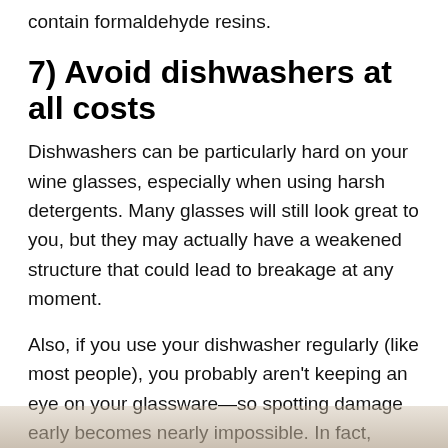contain formaldehyde resins.
7) Avoid dishwashers at all costs
Dishwashers can be particularly hard on your wine glasses, especially when using harsh detergents. Many glasses will still look great to you, but they may actually have a weakened structure that could lead to breakage at any moment.
Also, if you use your dishwasher regularly (like most people), you probably aren't keeping an eye on your glassware—so spotting damage early becomes nearly impossible. In fact, these tips are great for any type of glassware—not just wine glasses!
[Figure (photo): Partial bottom strip showing a faded brownish-tan image, likely a photo of glassware or a dishwasher, partially visible at the bottom of the page.]